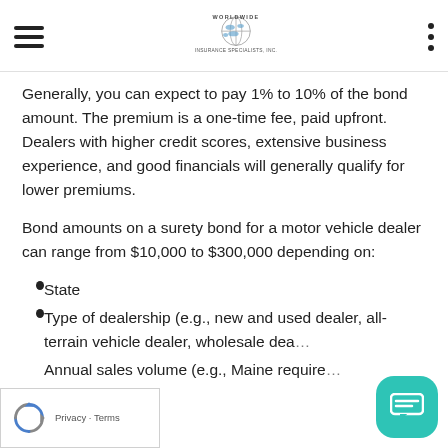Worldwide Insurance Specialists, Inc.
Generally, you can expect to pay 1% to 10% of the bond amount. The premium is a one-time fee, paid upfront. Dealers with higher credit scores, extensive business experience, and good financials will generally qualify for lower premiums.
Bond amounts on a surety bond for a motor vehicle dealer can range from $10,000 to $300,000 depending on:
State
Type of dealership (e.g., new and used dealer, all-terrain vehicle dealer, wholesale dea…
Annual sales volume (e.g., Maine require…